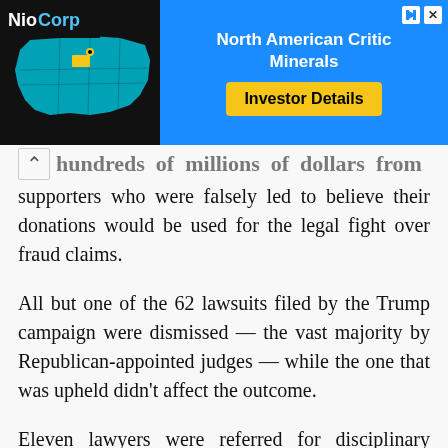[Figure (other): Advertisement banner for NioCorp showing a map of North America with Nebraska highlighted in yellow, and right side showing 'North American Critical Minerals' with 'Investor Details' button on blue background]
hundreds of millions of dollars from supporters who were falsely led to believe their donations would be used for the legal fight over fraud claims.
All but one of the 62 lawsuits filed by the Trump campaign were dismissed — the vast majority by Republican-appointed judges — while the one that was upheld didn't affect the outcome.
Eleven lawyers were referred for disciplinary proceedings due to “bad faith” legal efforts to overturn the election.
Powell filed four federal lawsuits in staunchly Democratic cities that were all rejected as frivolous